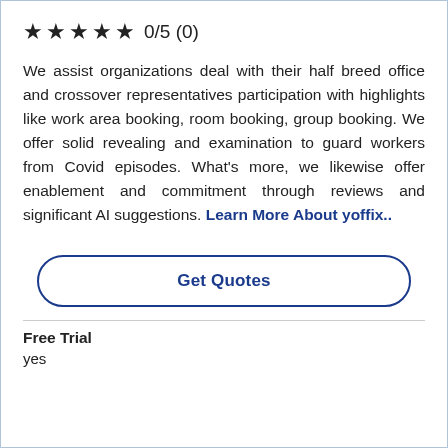★ ★ ★ ★ ★ 0/5 (0)
We assist organizations deal with their half breed office and crossover representatives participation with highlights like work area booking, room booking, group booking. We offer solid revealing and examination to guard workers from Covid episodes. What's more, we likewise offer enablement and commitment through reviews and significant AI suggestions. Learn More About yoffix..
Get Quotes
Free Trial
yes